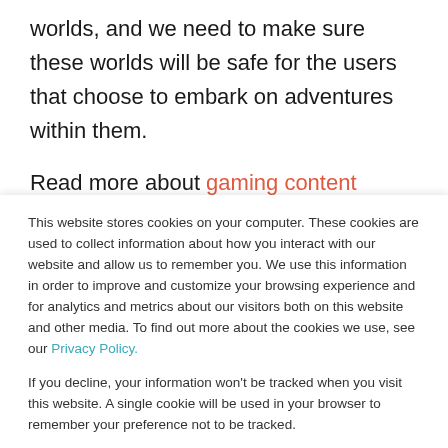worlds, and we need to make sure these worlds will be safe for the users that choose to embark on adventures within them.
Read more about gaming content moderation and find out how to do it
This website stores cookies on your computer. These cookies are used to collect information about how you interact with our website and allow us to remember you. We use this information in order to improve and customize your browsing experience and for analytics and metrics about our visitors both on this website and other media. To find out more about the cookies we use, see our Privacy Policy.
If you decline, your information won't be tracked when you visit this website. A single cookie will be used in your browser to remember your preference not to be tracked.
Accept
Decline